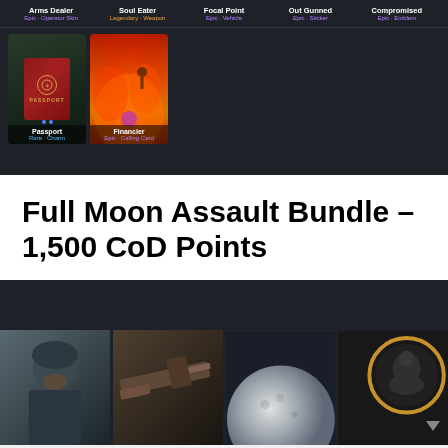[Figure (screenshot): Game store UI screenshot showing items bar with Arms Dealer (Epic - Operator Skin), Soul Eater (Legendary - Weapon), Focal Point (Epic - Vehicle), Out Gunned (Epic - Sticker), Compromised (Epic - Emblem), and below that card thumbnails for Passport (Rare - Charm) and Financier (Epic - Calling Card)]
Full Moon Assault Bundle – 1,500 CoD Points
[Figure (screenshot): Game store UI showing Full Moon Assault Bundle contents: a soldier character skin, an assault rifle weapon blueprint, a moon-themed item, and a gold emblem, displayed as thumbnail cards on a dark background]